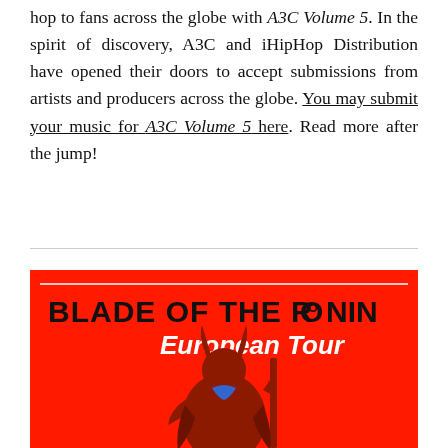hop to fans across the globe with A3C Volume 5. In the spirit of discovery, A3C and iHipHop Distribution have opened their doors to accept submissions from artists and producers across the globe. You may submit your music for A3C Volume 5 here. Read more after the jump!
[Figure (illustration): Red background promotional image for 'Blade of the Ronin European Tour' showing a dark warrior/samurai figure in a crouching pose holding a staff, with text 'BLADE OF THE RONIN' in bold black at top and 'European Tour' in bold white italic below it.]